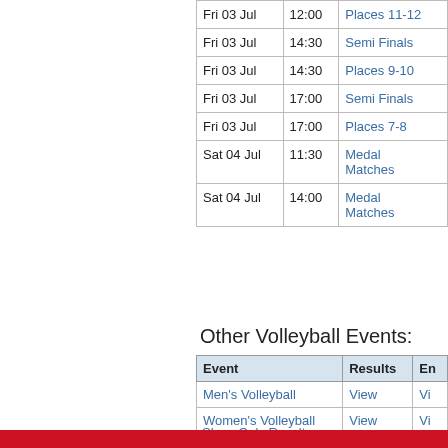| Date | Time | Event |
| --- | --- | --- |
| Fri 03 Jul | 12:00 | Places 11-12 |
| Fri 03 Jul | 14:30 | Semi Finals |
| Fri 03 Jul | 14:30 | Places 9-10 |
| Fri 03 Jul | 17:00 | Semi Finals |
| Fri 03 Jul | 17:00 | Places 7-8 |
| Sat 04 Jul | 11:30 | Medal Matches |
| Sat 04 Jul | 14:00 | Medal Matches |
Other Volleyball Events:
| Event | Results | En |
| --- | --- | --- |
| Men's Volleyball | View | Vi |
| Women's Volleyball | View | Vi |
Show Only Results